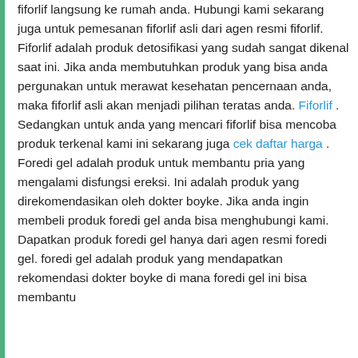fiforlif langsung ke rumah anda. Hubungi kami sekarang juga untuk pemesanan fiforlif asli dari agen resmi fiforlif. Fiforlif adalah produk detosifikasi yang sudah sangat dikenal saat ini. Jika anda membutuhkan produk yang bisa anda pergunakan untuk merawat kesehatan pencernaan anda, maka fiforlif asli akan menjadi pilihan teratas anda. Fiforlif . Sedangkan untuk anda yang mencari fiforlif bisa mencoba produk terkenal kami ini sekarang juga cek daftar harga . Foredi gel adalah produk untuk membantu pria yang mengalami disfungsi ereksi. Ini adalah produk yang direkomendasikan oleh dokter boyke. Jika anda ingin membeli produk foredi gel anda bisa menghubungi kami. Dapatkan produk foredi gel hanya dari agen resmi foredi gel. foredi gel adalah produk yang mendapatkan rekomendasi dokter boyke di mana foredi gel ini bisa membantu